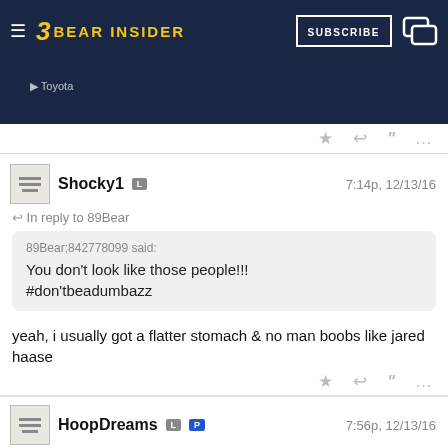Bear Insider – Subscribe
[Figure (screenshot): Partial video thumbnail showing a sports event with Toyota branding]
[/video]
★ ↩ " …
Shocky1  L   7:14p, 12/13/16
↩ In reply to 89Bear
89Bear;842778099 said:
You don't look like those people!!!
#don'tbeadumbazz
yeah, i usually got a flatter stomach & no man boobs like jared haase
★ ↩ " …
HoopDreams  L  P   7:56p, 12/13/16
↩ In reply to Shocky1